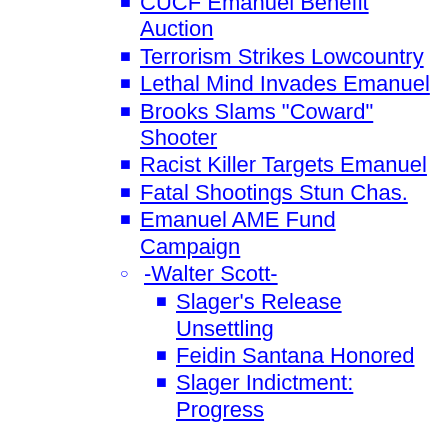CUCF Emanuel Benefit Auction
Terrorism Strikes Lowcountry
Lethal Mind Invades Emanuel
Brooks Slams "Coward" Shooter
Racist Killer Targets Emanuel
Fatal Shootings Stun Chas.
Emanuel AME Fund Campaign
-Walter Scott-
Slager's Release Unsettling
Feidin Santana Honored
Slager Indictment: Progress